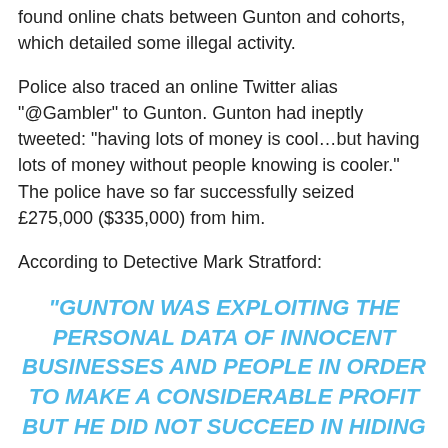found online chats between Gunton and cohorts, which detailed some illegal activity.
Police also traced an online Twitter alias "@Gambler" to Gunton. Gunton had ineptly tweeted: "having lots of money is cool…but having lots of money without people knowing is cooler." The police have so far successfully seized £275,000 ($335,000) from him.
According to Detective Mark Stratford:
"GUNTON WAS EXPLOITING THE PERSONAL DATA OF INNOCENT BUSINESSES AND PEOPLE IN ORDER TO MAKE A CONSIDERABLE PROFIT BUT HE DID NOT SUCCEED IN HIDING ALL OF HIS